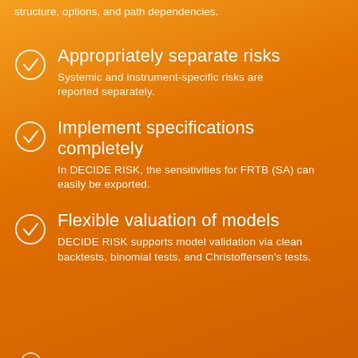structure, options, and path dependencies.
Appropriately separate risks
Systemic and instrument-specific risks are reported separately.
Implement specifications completely
In DECIDE RISK, the sensitivities for FRTB (SA) can easily be exported.
Flexible valuation of models
DECIDE RISK supports model validation via clean backtests, binomial tests, and Christoffersen's tests.